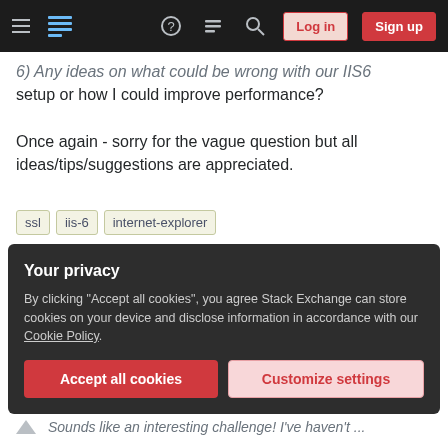Stack Exchange navigation bar with hamburger menu, logo, icons, Log in and Sign up buttons
6) Any ideas on what could be wrong with our IIS6 setup or how I could improve performance?

Once again - sorry for the vague question but all ideas/tips/suggestions are appreciated.
ssl
iis-6
internet-explorer
Share  Improve this question  Follow
asked Apr 4, 2011 at 11:53
mikeesouth
111 ● 5
Your privacy
By clicking "Accept all cookies", you agree Stack Exchange can store cookies on your device and disclose information in accordance with our Cookie Policy.
Accept all cookies  Customize settings
Sounds like an interesting challenge! I've haven't ...